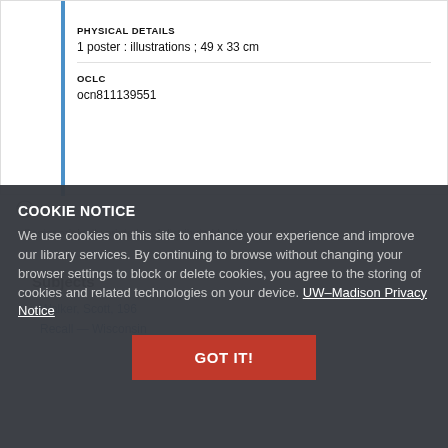PHYSICAL DETAILS
1 poster : illustrations ; 49 x 33 cm
OCLC
ocn811139551
COOKIE NOTICE
We use cookies on this site to enhance your experience and improve our library services. By continuing to browse without changing your browser settings to block or delete cookies, you agree to the storing of cookies and related technologies on your device. UW–Madison Privacy Notice
GOT IT!
Notes
Subjects
Walker, Scott, 196
Recall — Wisconsin